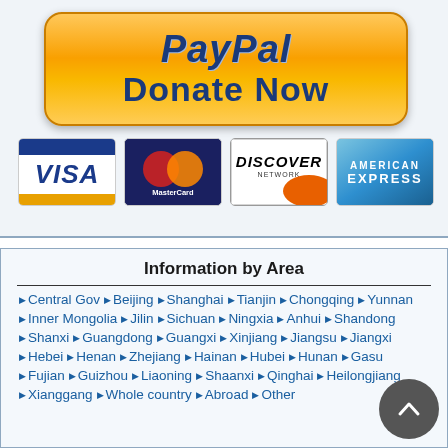[Figure (logo): PayPal Donate Now button with golden/orange rounded rectangle background and dark blue italic text]
[Figure (logo): VISA credit card logo - white card with blue top stripe, blue VISA italic text, gold bottom stripe]
[Figure (logo): MasterCard logo - dark blue card with two overlapping circles (red and orange) and MasterCard text]
[Figure (logo): Discover Network card logo - white card with black DISCOVER text and orange swoosh]
[Figure (logo): American Express card logo - blue gradient card with AMERICAN EXPRESS text in white]
Information by Area
Central Gov · Beijing · Shanghai · Tianjin · Chongqing · Yunnan
Inner Mongolia · Jilin · Sichuan · Ningxia · Anhui · Shandong
Shanxi · Guangdong · Guangxi · Xinjiang · Jiangsu · Jiangxi
Hebei · Henan · Zhejiang · Hainan · Hubei · Hunan · Gasu
Fujian · Guizhou · Liaoning · Shaanxi · Qinghai · Heilongjiang
Xianggang · Whole country · Abroad · Other